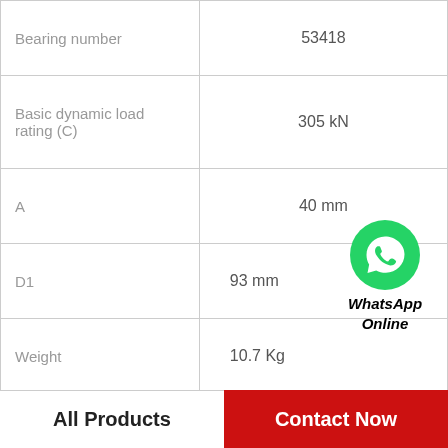| Property | Value |
| --- | --- |
| Bearing number | 53418 |
| Basic dynamic load rating (C) | 305 kN |
| A | 40 mm |
| D1 | 93 mm |
| Weight | 10.7 Kg |
| d | 90 mm |
| T | 81.2 mm |
| D | 190 mm |
[Figure (logo): WhatsApp green circle logo with phone icon, and text 'WhatsApp Online' in bold italic]
All Products | Contact Now